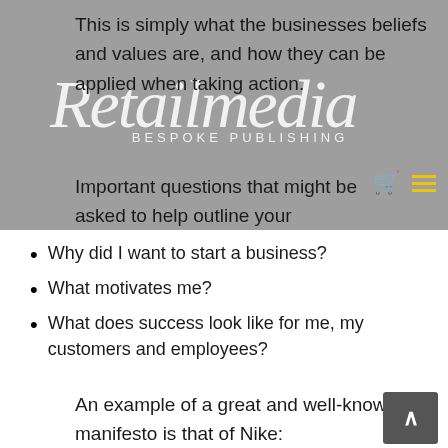This is simply what the businesses beliefs and values are, and how they can be applied when taking action.
[Figure (logo): Retailmedia Bespoke Publishing watermark/logo in white italic script with subtitle text]
Important questions that might be asked to help outline your manifesto are:
Why did I want to start a business?
What motivates me?
What does success look like for me, my customers and employees?
An example of a great and well-known manifesto is that of Nike: